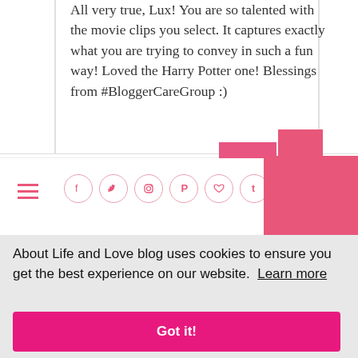All very true, Lux! You are so talented with the movie clips you select. It captures exactly what you are trying to convey in such a fun way! Loved the Harry Potter one! Blessings from #BloggerCareGroup :)
[Figure (screenshot): Blog navigation bar with hamburger menu and social media icons (Facebook, Twitter, Instagram, Pinterest, heart/Bloglovin, Tumblr) in pink circle outlines, and a pink search button on the right]
About Life and Love blog uses cookies to ensure you get the best experience on our website.  Learn more
Got it!
the statement, "I believe